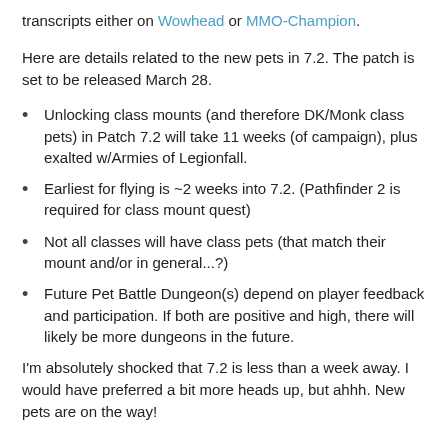transcripts either on Wowhead or MMO-Champion.
Here are details related to the new pets in 7.2. The patch is set to be released March 28.
Unlocking class mounts (and therefore DK/Monk class pets) in Patch 7.2 will take 11 weeks (of campaign), plus exalted w/Armies of Legionfall.
Earliest for flying is ~2 weeks into 7.2. (Pathfinder 2 is required for class mount quest)
Not all classes will have class pets (that match their mount and/or in general...?)
Future Pet Battle Dungeon(s) depend on player feedback and participation. If both are positive and high, there will likely be more dungeons in the future.
I'm absolutely shocked that 7.2 is less than a week away. I would have preferred a bit more heads up, but ahhh. New pets are on the way!